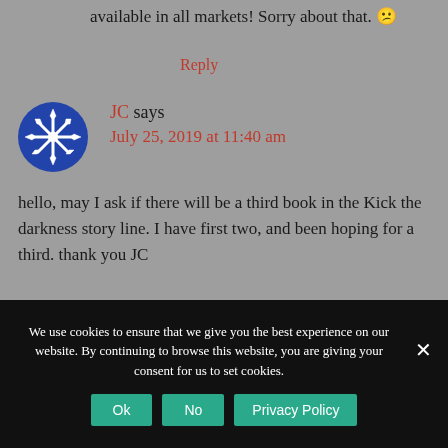and UK. I wish Amazon would make them available in all markets! Sorry about that. 😕
Reply
JC says
July 25, 2019 at 11:40 am
hello, may I ask if there will be a third book in the Kick the darkness story line. I have first two, and been hoping for a third. thank you JC
We use cookies to ensure that we give you the best experience on our website. By continuing to browse this website, you are giving your consent for us to set cookies.